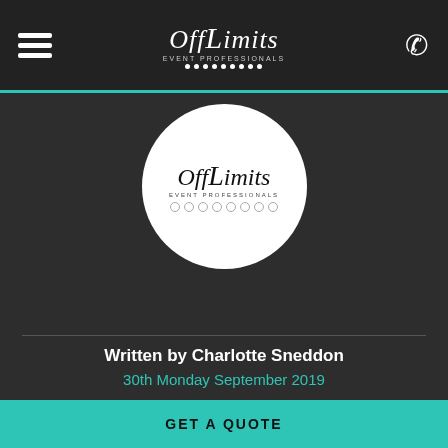Off Limits Event Professionals - navigation header with hamburger menu, logo, and phone icon
[Figure (logo): Off Limits Event Professionals circular logo on dark background]
Written by Charlotte Sneddon
30th Monday September 2019
SHARE THIS BLOG WITH YOUR FRIENDS
Share on Facebook
Tweet
GET A QUOTE